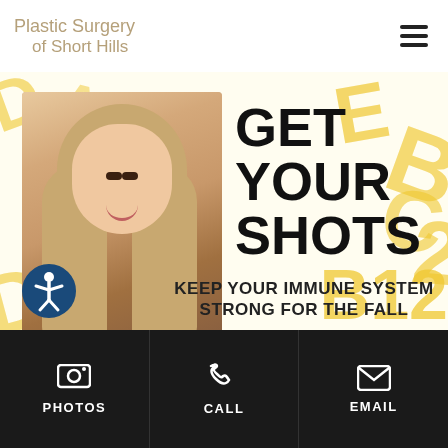Plastic Surgery of Short Hills
[Figure (photo): Portrait photo of a young woman with long blonde highlighted hair, smiling, wearing a white top.]
GET YOUR SHOTS
KEEP YOUR IMMUNE SYSTEM STRONG FOR THE FALL
PHOTOS  CALL  EMAIL